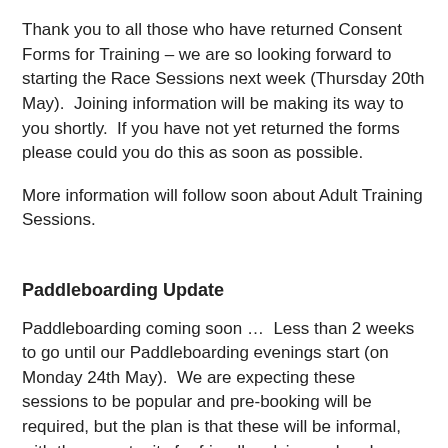Thank you to all those who have returned Consent Forms for Training – we are so looking forward to starting the Race Sessions next week (Thursday 20th May).  Joining information will be making its way to you shortly.  If you have not yet returned the forms please could you do this as soon as possible.
More information will follow soon about Adult Training Sessions.
Paddleboarding Update
Paddleboarding coming soon …  Less than 2 weeks to go until our Paddleboarding evenings start (on Monday 24th May).  We are expecting these sessions to be popular and pre-booking will be required, but the plan is that these will be informal, with the opportunity for friendly advice on hand.  Watch out for more information soon!